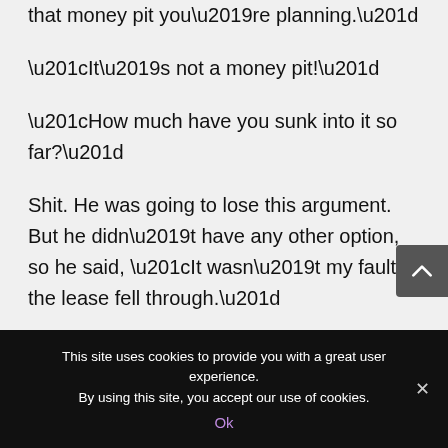that money pit you’re planning.”
“It’s not a money pit!”
“How much have you sunk into it so far?”
Shit. He was going to lose this argument. But he didn’t have any other option, so he said, “It wasn’t my fault the lease fell through.”
“On how many places?”
This site uses cookies to provide you with a great user experience. By using this site, you accept our use of cookies.
Ok